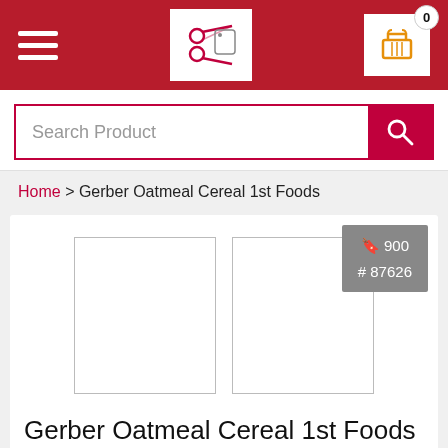Navigation bar with hamburger menu, logo, and cart (0 items)
Search Product
Home > Gerber Oatmeal Cereal 1st Foods
[Figure (screenshot): Product image placeholders (two white boxes) with SKU badge showing '🔖 900 # 87626']
Gerber Oatmeal Cereal 1st Foods - Price In Bangladesh
Price: Tk 1100